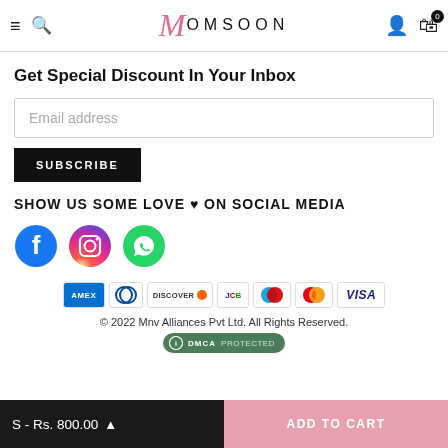MOMSOON — navigation header with hamburger, search, account, cart (0)
Get Special Discount In Your Inbox
Email address
SUBSCRIBE
SHOW US SOME LOVE ♥ ON SOCIAL MEDIA
[Figure (logo): Social media icons: Facebook, Instagram, WhatsApp]
[Figure (logo): Payment method logos: Amex, Diners Club, Discover, JCB, Maestro, Mastercard, Visa]
© 2022 Mnv Alliances Pvt Ltd. All Rights Reserved.
DMCA PROTECTED
S - Rs. 800.00  ADD TO CART